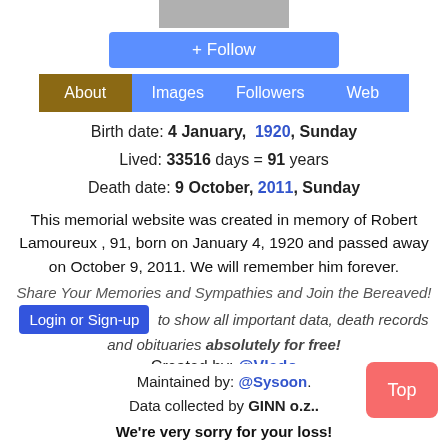[Figure (photo): Partial photo of a person at the top of the page]
+ Follow
About | Images | Followers | Web (tab bar)
Birth date: 4 January, 1920, Sunday
Lived: 33516 days = 91 years
Death date: 9 October, 2011, Sunday
This memorial website was created in memory of Robert Lamoureux , 91, born on January 4, 1920 and passed away on October 9, 2011. We will remember him forever.
Share Your Memories and Sympathies and Join the Bereaved!
Login or Sign-up to show all important data, death records and obituaries absolutely for free!
Created by: @Vlado
Maintained by: @Sysoon.
Data collected by GINN o.z..
We're very sorry for your loss!